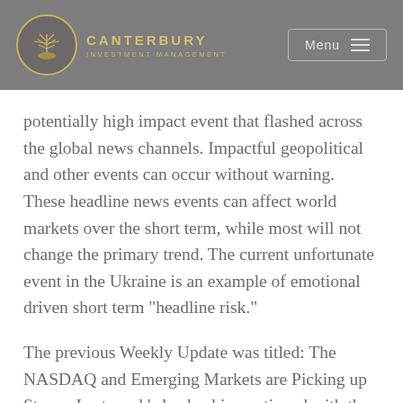Canterbury Investment Management
potentially high impact event that flashed across the global news channels. Impactful geopolitical and other events can occur without warning. These headline news events can affect world markets over the short term, while most will not change the primary trend. The current unfortunate event in the Ukraine is an example of emotional driven short term "headline risk."
The previous Weekly Update was titled: The NASDAQ and Emerging Markets are Picking up Steam. Last week's leadership continued with the same